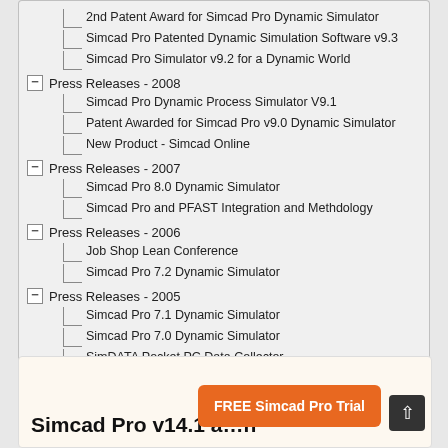2nd Patent Award for Simcad Pro Dynamic Simulator
Simcad Pro Patented Dynamic Simulation Software v9.3
Simcad Pro Simulator v9.2 for a Dynamic World
Press Releases - 2008
Simcad Pro Dynamic Process Simulator V9.1
Patent Awarded for Simcad Pro v9.0 Dynamic Simulator
New Product - Simcad Online
Press Releases - 2007
Simcad Pro 8.0 Dynamic Simulator
Simcad Pro and PFAST Integration and Methdology
Press Releases - 2006
Job Shop Lean Conference
Simcad Pro 7.2 Dynamic Simulator
Press Releases - 2005
Simcad Pro 7.1 Dynamic Simulator
Simcad Pro 7.0 Dynamic Simulator
SimDATA Pocket PC Data Collector
New Simcad Module Bring Ease and Flexibility to Business
Simcad Pro v14.1 a...n
FREE Simcad Pro Trial